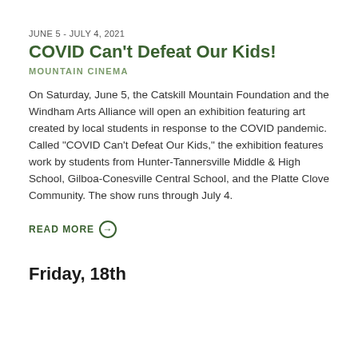JUNE 5 - JULY 4, 2021
COVID Can't Defeat Our Kids!
MOUNTAIN CINEMA
On Saturday, June 5, the Catskill Mountain Foundation and the Windham Arts Alliance will open an exhibition featuring art created by local students in response to the COVID pandemic. Called “COVID Can't Defeat Our Kids,” the exhibition features work by students from Hunter-Tannersville Middle & High School, Gilboa-Conesville Central School, and the Platte Clove Community. The show runs through July 4.
READ MORE →
Friday, 18th